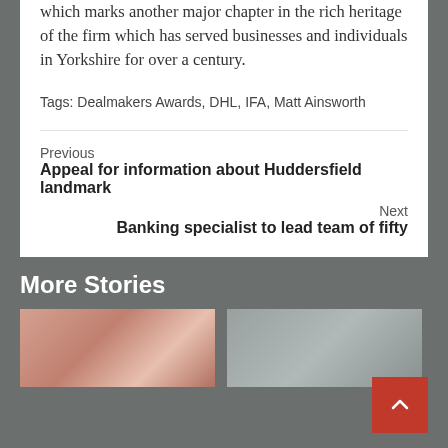which marks another major chapter in the rich heritage of the firm which has served businesses and individuals in Yorkshire for over a century.
Tags: Dealmakers Awards, DHL, IFA, Matt Ainsworth
Previous
Appeal for information about Huddersfield landmark
Next
Banking specialist to lead team of fifty
More Stories
[Figure (photo): Partial face photo, pinkish skin tones, cropped]
[Figure (photo): Partial photo with gray/neutral tones, cropped]